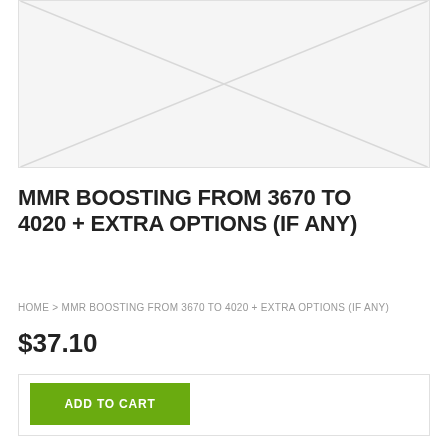[Figure (illustration): Product image placeholder with diagonal lines indicating no image available]
MMR BOOSTING FROM 3670 TO 4020 + EXTRA OPTIONS (IF ANY)
HOME > MMR BOOSTING FROM 3670 TO 4020 + EXTRA OPTIONS (IF ANY)
$37.10
ADD TO CART